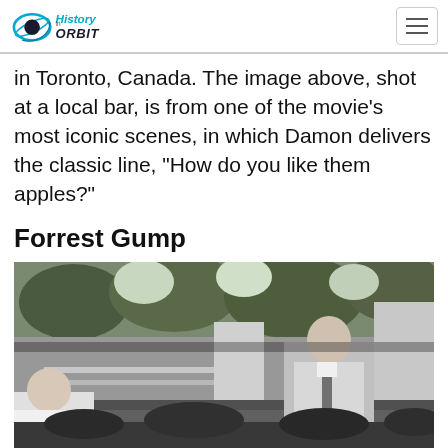History in Orbit
in Toronto, Canada. The image above, shot at a local bar, is from one of the movie's most iconic scenes, in which Damon delivers the classic line, "How do you like them apples?"
Forrest Gump
[Figure (photo): Black and white still from Forrest Gump showing a man in a suit sitting on a bench outdoors with trees in background]